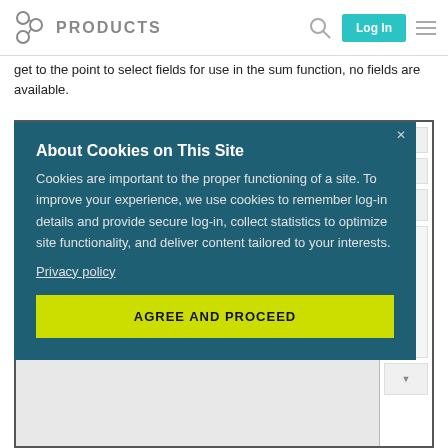PRODUCTS | Log In
get to the point to select fields for use in the sum function, no fields are available.
[Figure (screenshot): Cookie consent modal overlay on a website. Dark teal background with title 'About Cookies on This Site', body text explaining cookie usage, a 'Privacy policy' link, and a yellow-green 'AGREE AND PROCEED' button. Behind the modal is a partially visible web application interface with input fields and a scrollbar.]
About Cookies on This Site
Cookies are important to the proper functioning of a site. To improve your experience, we use cookies to remember log-in details and provide secure log-in, collect statistics to optimize site functionality, and deliver content tailored to your interests.
Privacy policy